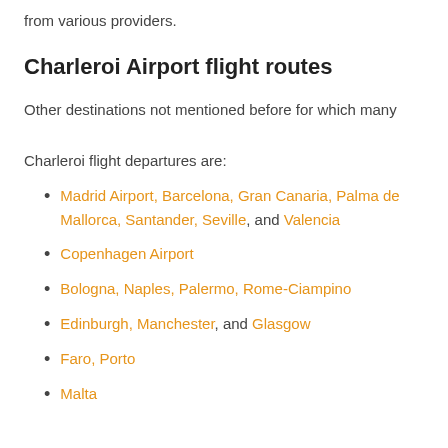from various providers.
Charleroi Airport flight routes
Other destinations not mentioned before for which many Charleroi flight departures are:
Madrid Airport, Barcelona, Gran Canaria, Palma de Mallorca, Santander, Seville, and Valencia
Copenhagen Airport
Bologna, Naples, Palermo, Rome-Ciampino
Edinburgh, Manchester, and Glasgow
Faro, Porto
Malta